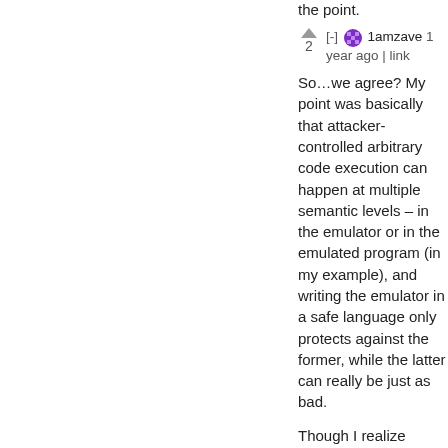the point.
[-] 1amzave 1 year ago | link
So…we agree? My point was basically that attacker-controlled arbitrary code execution can happen at multiple semantic levels – in the emulator or in the emulated program (in my example), and writing the emulator in a safe language only protects against the former, while the latter can really be just as bad.
Though I realize